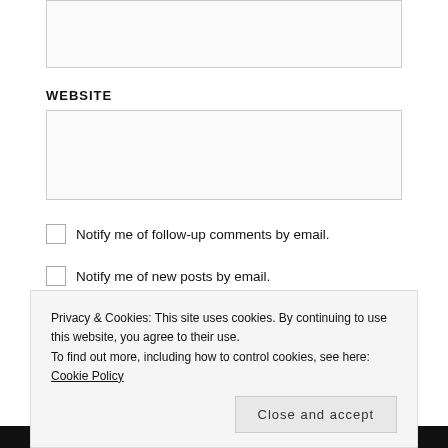[Figure (screenshot): Top portion of a web form input box (text area), partially visible at top of page]
WEBSITE
[Figure (screenshot): Website input text box, empty, with light border]
Notify me of follow-up comments by email.
Notify me of new posts by email.
POST COMMENT
Privacy & Cookies: This site uses cookies. By continuing to use this website, you agree to their use.
To find out more, including how to control cookies, see here: Cookie Policy
Close and accept